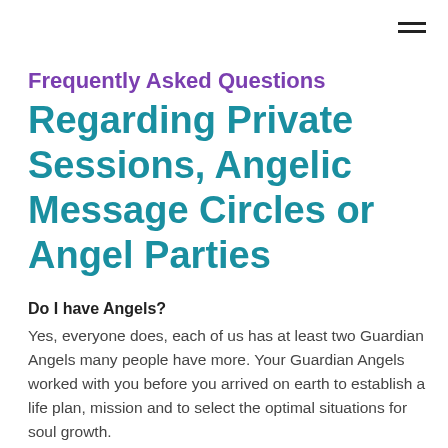Frequently Asked Questions Regarding Private Sessions, Angelic Message Circles or Angel Parties
Do I have Angels?
Yes, everyone does, each of us has at least two Guardian Angels many people have more. Your Guardian Angels worked with you before you arrived on earth to establish a life plan, mission and to select the optimal situations for soul growth.